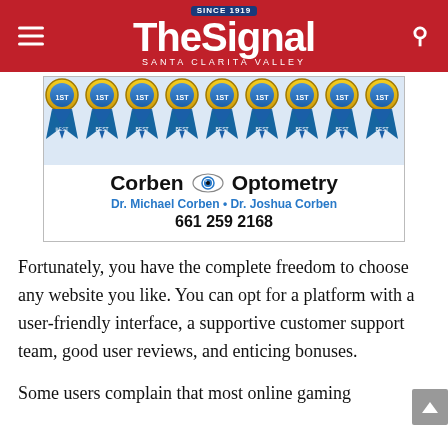The Signal — Santa Clarita Valley
[Figure (photo): Corben Optometry advertisement showing blue award ribbons at the top, an eye logo, the text 'Corben Optometry', 'Dr. Michael Corben • Dr. Joshua Corben', and phone number '661 259 2168']
Fortunately, you have the complete freedom to choose any website you like. You can opt for a platform with a user-friendly interface, a supportive customer support team, good user reviews, and enticing bonuses.
Some users complain that most online gaming platforms...